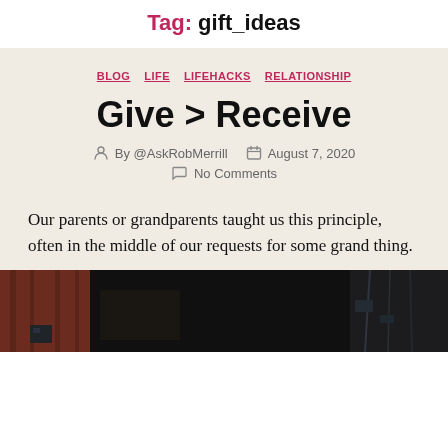Tag: gift_ideas
BLOG  LIFE  LIFEHACKS  RELATIONSHIP
Give > Receive
By @AskRobMerrill   August 7, 2020
No Comments
Our parents or grandparents taught us this principle, often in the middle of our requests for some grand thing.
[Figure (photo): Dark photograph, appears to show an indoor scene with dim lighting, wooden red wall visible on left side and cables/equipment on right]